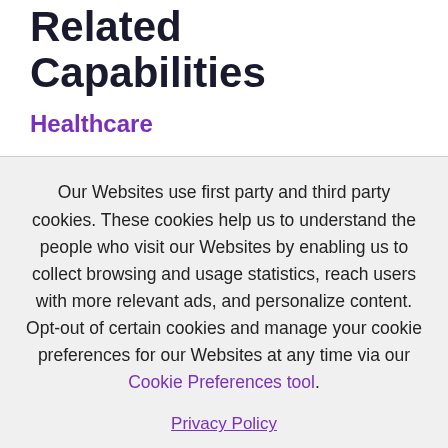Related Capabilities
Healthcare
Our Websites use first party and third party cookies. These cookies help us to understand the people who visit our Websites by enabling us to collect browsing and usage statistics, reach users with more relevant ads, and personalize content. Opt-out of certain cookies and manage your cookie preferences for our Websites at any time via our Cookie Preferences tool.
Privacy Policy
OK